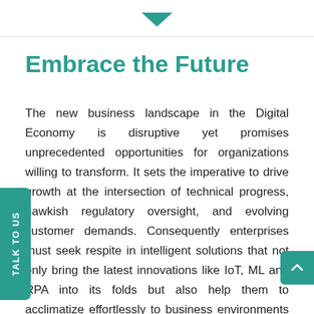[Figure (logo): Teal downward-pointing chevron/arrow logo at top center, above a horizontal divider line]
Embrace the Future
The new business landscape in the Digital Economy is disruptive yet promises unprecedented opportunities for organizations willing to transform. It sets the imperative to drive growth at the intersection of technical progress, hawkish regulatory oversight, and evolving customer demands. Consequently enterprises must seek respite in intelligent solutions that not only bring the latest innovations like IoT, ML and RPA into its folds but also help them to acclimatize effortlessly to business environments and forge lasting stakeholder relations.